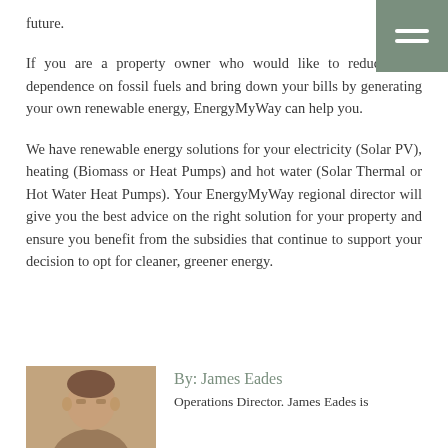future.
If you are a property owner who would like to reduce your dependence on fossil fuels and bring down your bills by generating your own renewable energy, EnergyMyWay can help you.
We have renewable energy solutions for your electricity (Solar PV), heating (Biomass or Heat Pumps) and hot water (Solar Thermal or Hot Water Heat Pumps). Your EnergyMyWay regional director will give you the best advice on the right solution for your property and ensure you benefit from the subsidies that continue to support your decision to opt for cleaner, greener energy.
[Figure (photo): Headshot photo of James Eades]
By: James Eades
Operations Director. James Eades is